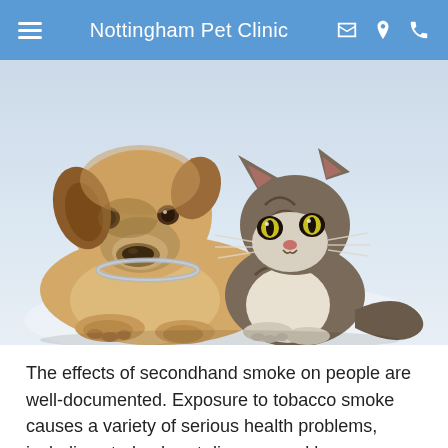Nottingham Pet Clinic
[Figure (photo): A golden/tan dog lying down next to a tabby cat, both facing the camera on a white background.]
The effects of secondhand smoke on people are well-documented. Exposure to tobacco smoke causes a variety of serious health problems, including stroke, heart disease, and lung cancer, according to the Centers for Disease Control and Prevention. Not surprisingly,